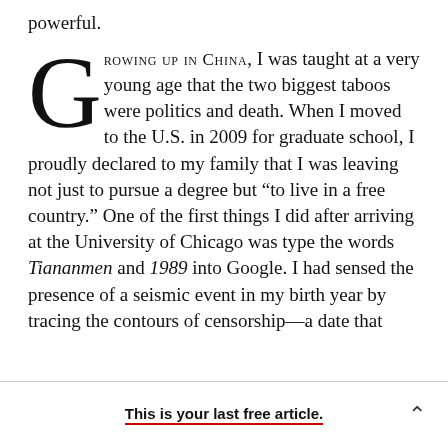powerful.
Growing up in China, I was taught at a very young age that the two biggest taboos were politics and death. When I moved to the U.S. in 2009 for graduate school, I proudly declared to my family that I was leaving not just to pursue a degree but “to live in a free country.” One of the first things I did after arriving at the University of Chicago was type the words Tiananmen and 1989 into Google. I had sensed the presence of a seismic event in my birth year by tracing the contours of censorship—a date that
This is your last free article.